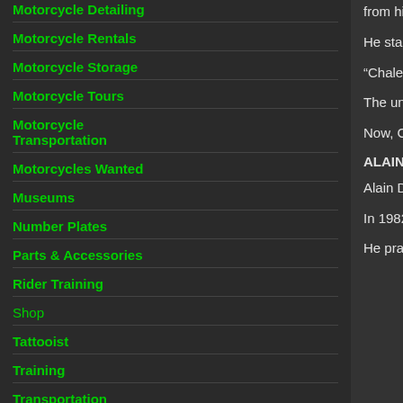Motorcycle Detailing
Motorcycle Rentals
Motorcycle Storage
Motorcycle Tours
Motorcycle Transportation
Motorcycles Wanted
Museums
Number Plates
Parts & Accessories
Rider Training
Shop
Tattooist
Training
Transportation
from his father, but also the nickname "Chaleco", sweater knitted by his mother Ana María.
He started in rally raid in Por las Pampas in 2005, In 2007, he was crowned World Champion in 450 official KTM rider in 2007.
“Chaleco” became an official rider of Team Giofi Noale, Italy, to the third place in Dakar 2010. Tha overall and first in 450cc class in the Rally of Egy
The unfortunate end of Dakar 2011 is still in min line of the last stage the rear suspension broke do in Tunisia´s Rally last April, the Chilean was well time to recover from it.
Now, Chaleco is ready to race again, motivated to October, his last test before the Dakar 2012 Arger
ALAIN DUCLOS
Alain Duclos was born on June 25th, 1971 in Ban the 80´s, and as part of a very passionate family, h decided to dedicate himself to BMX.
In 1982, the Dakar´s passage through Korghoro li participate on it once.
He practiced Enduro for years until he finally tool always been improving results, he took the 14th